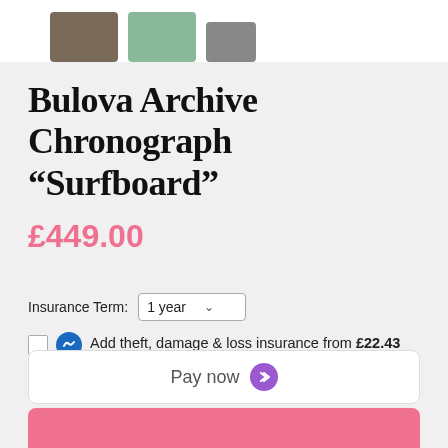[Figure (photo): Three product thumbnail images — person wearing watch, watch face closeup, watch strap detail]
Bulova Archive Chronograph “Surfboard”
£449.00
Insurance Term: 1 year
Add theft, damage & loss insurance from £22.43
Pay now